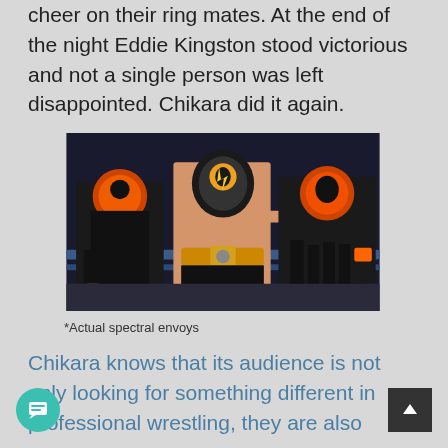cheer on their ring mates. At the end of the night Eddie Kingston stood victorious and not a single person was left disappointed. Chikara did it again.
[Figure (photo): Three professional wrestlers in black and orange costumes and masks standing in the ring. The center wrestler is shirtless with a championship belt, flanked by two wrestlers in full-body black costumes with orange accents.]
*Actual spectral envoys
Chikara knows that its audience is not only looking for something different in professional wrestling, they are also